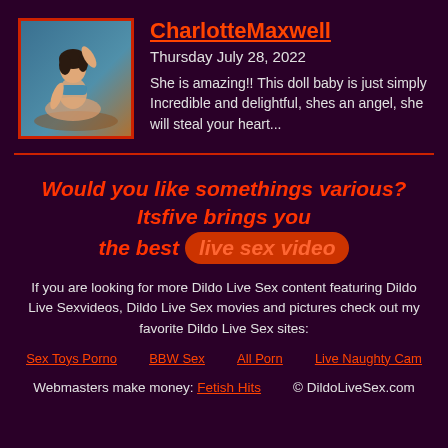[Figure (photo): Profile photo of a woman in a blue bikini posing against a blue background, inside a red-bordered thumbnail]
CharlotteMaxwell
Thursday July 28, 2022
She is amazing!! This doll baby is just simply Incredible and delightful, shes an angel, she will steal your heart...
Would you like somethings various? Itsfive brings you the best live sex video
If you are looking for more Dildo Live Sex content featuring Dildo Live Sexvideos, Dildo Live Sex movies and pictures check out my favorite Dildo Live Sex sites:
Sex Toys Porno
BBW Sex
All Porn
Live Naughty Cam
Webmasters make money: Fetish Hits   © DildoLiveSex.com